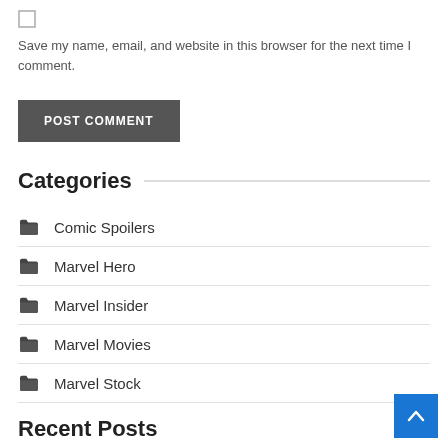Save my name, email, and website in this browser for the next time I comment.
POST COMMENT
Categories
Comic Spoilers
Marvel Hero
Marvel Insider
Marvel Movies
Marvel Stock
Recent Posts